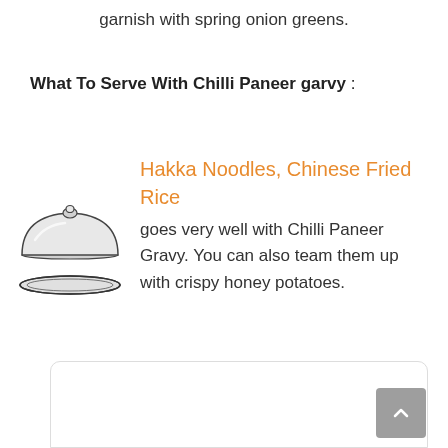garnish with spring onion greens.
What To Serve With Chilli Paneer garvy :
[Figure (illustration): A silver domed serving cloche/dish cover illustration]
Hakka Noodles, Chinese Fried Rice goes very well with Chilli Paneer Gravy. You can also team them up with crispy honey potatoes.